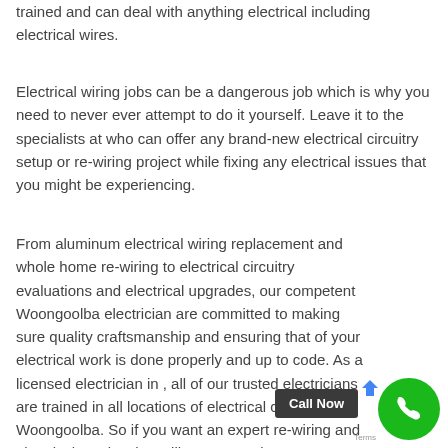trained and can deal with anything electrical including electrical wires.
Electrical wiring jobs can be a dangerous job which is why you need to never ever attempt to do it yourself. Leave it to the specialists at who can offer any brand-new electrical circuitry setup or re-wiring project while fixing any electrical issues that you might be experiencing.
From aluminum electrical wiring replacement and whole home re-wiring to electrical circuitry evaluations and electrical upgrades, our competent Woongoolba electrician are committed to making sure quality craftsmanship and ensuring that of your electrical work is done properly and up to code. As a licensed electrician in , all of our trusted electricians are trained in all locations of electrical circuitry in Woongoolba. So if you want an expert re-wiring and electrical service that will ensure all electrical work is safe and up to code, call on the professionals